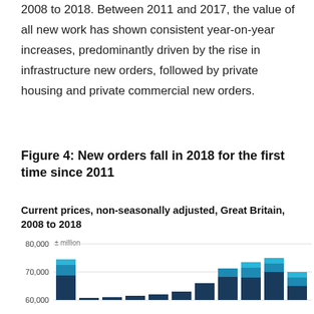2008 to 2018. Between 2011 and 2017, the value of all new work has shown consistent year-on-year increases, predominantly driven by the rise in infrastructure new orders, followed by private housing and private commercial new orders.
Figure 4: New orders fall in 2018 for the first time since 2011
Current prices, non-seasonally adjusted, Great Britain, 2008 to 2018
[Figure (stacked-bar-chart): New orders fall in 2018 for the first time since 2011]